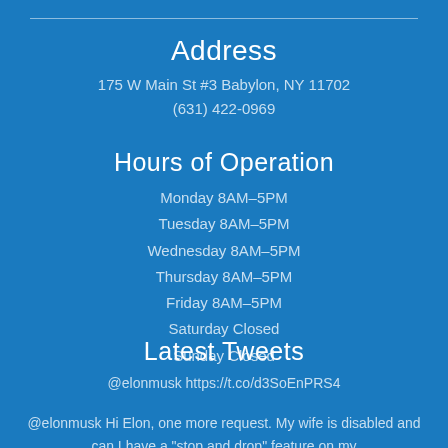Address
175 W Main St #3 Babylon, NY 11702
(631) 422-0969
Hours of Operation
Monday 8AM–5PM
Tuesday 8AM–5PM
Wednesday 8AM–5PM
Thursday 8AM–5PM
Friday 8AM–5PM
Saturday Closed
Sunday Closed
Latest Tweets
@elonmusk https://t.co/d3SoEnPRS4
@elonmusk Hi Elon, one more request. My wife is disabled and can I have a "stop and drop" feature on my